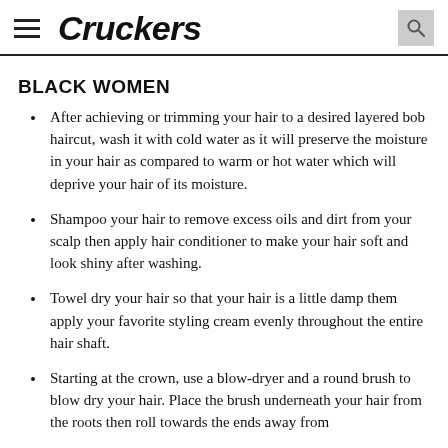Cruckers
BLACK WOMEN
After achieving or trimming your hair to a desired layered bob haircut, wash it with cold water as it will preserve the moisture in your hair as compared to warm or hot water which will deprive your hair of its moisture.
Shampoo your hair to remove excess oils and dirt from your scalp then apply hair conditioner to make your hair soft and look shiny after washing.
Towel dry your hair so that your hair is a little damp them apply your favorite styling cream evenly throughout the entire hair shaft.
Starting at the crown, use a blow-dryer and a round brush to blow dry your hair. Place the brush underneath your hair from the roots then roll towards the ends away from